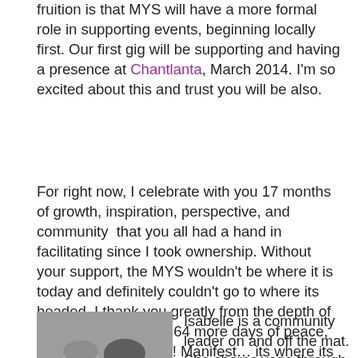fruition is that MYS will have a more formal role in supporting events, beginning locally first. Our first gig will be supporting and having a presence at Chantlanta, March 2014. I'm so excited about this and trust you will be also.
For right now, I celebrate with you 17 months of growth, inspiration, perspective, and community  that you all had a hand in facilitating since I took ownership. Without your support, the MYS wouldn't be where it is today and definitely couldn't go to where its headed. I thank you greatly from the depth of my heart. Here's to 364 more days of peace, love, and community! Manifest… its where its at. Happy 2014!
[Figure (photo): Black and white photo of a man and woman smiling together]
Isabelle is a community leader on and off the mat. She shares yoga through weekly yoga classes, workshops, trainings, and local & international yoga retreats, She is also the owner & Editor In Chief of My Yoga Scene. When not teaching, she finds inspiration from her daily home  yoga